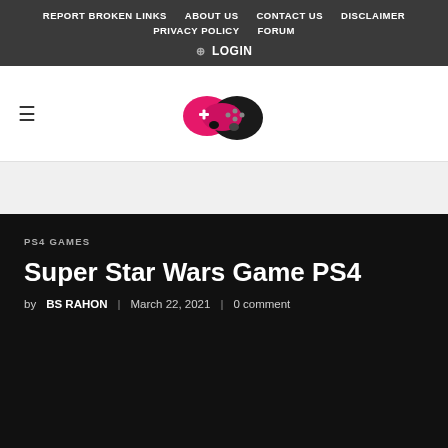REPORT BROKEN LINKS | ABOUT US | CONTACT US | DISCLAIMER | PRIVACY POLICY | FORUM
⊕ LOGIN
[Figure (logo): Gaming website logo with pink and black game controller icon]
PS4 GAMES
Super Star Wars Game PS4
by BS RAHON | March 22, 2021 | 0 comment